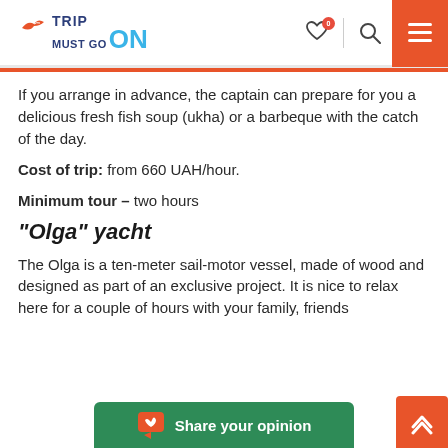TRIP MUST GO ON
If you arrange in advance, the captain can prepare for you a delicious fresh fish soup (ukha) or a barbeque with the catch of the day.
Cost of trip: from 660 UAH/hour.
Minimum tour – two hours
“Olga” yacht
The Olga is a ten-meter sail-motor vessel, made of wood and designed as part of an exclusive project. It is nice to relax here for a couple of hours with your family, friends